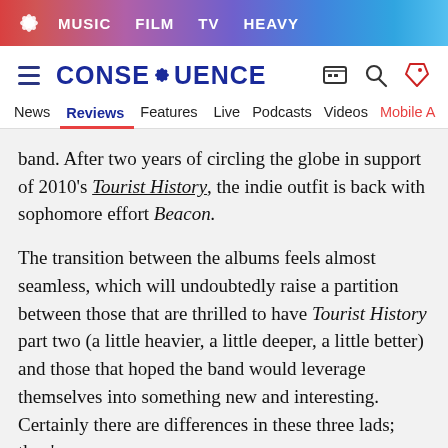MUSIC  FILM  TV  HEAVY
[Figure (logo): Consequence of Sound logo with hamburger menu and navigation icons]
News  Reviews  Features  Live  Podcasts  Videos  Mobile A
band. After two years of circling the globe in support of 2010's Tourist History, the indie outfit is back with sophomore effort Beacon.
The transition between the albums feels almost seamless, which will undoubtedly raise a partition between those that are thrilled to have Tourist History part two (a little heavier, a little deeper, a little better) and those that hoped the band would leverage themselves into something new and interesting. Certainly there are differences in these three lads; they've seen